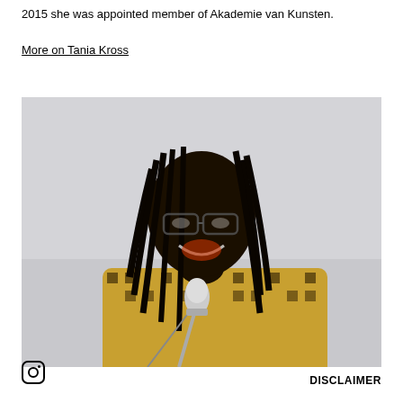2015 she was appointed member of Akademie van Kunsten.
More on Tania Kross
[Figure (photo): A smiling woman with dreadlocks and glasses, wearing a patterned yellow and black top, speaking into a microphone against a light grey background.]
DISCLAIMER